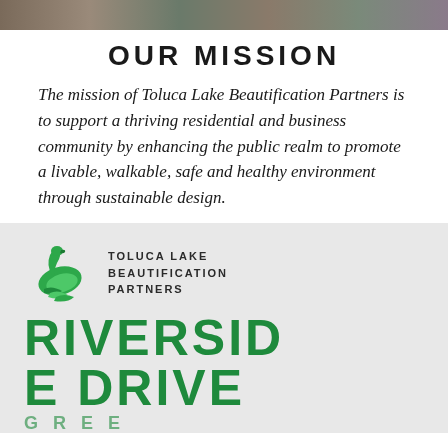[Figure (photo): Photo strip of people at the top of the page]
OUR MISSION
The mission of Toluca Lake Beautification Partners is to support a thriving residential and business community by enhancing the public realm to promote a livable, walkable, safe and healthy environment through sustainable design.
[Figure (logo): Toluca Lake Beautification Partners logo with green swan and leaf design, followed by RIVERSIDE DRIVE text in green]
RIVERSIDE DRIVE